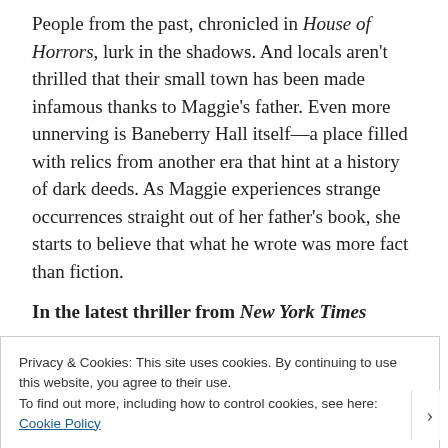People from the past, chronicled in House of Horrors, lurk in the shadows. And locals aren't thrilled that their small town has been made infamous thanks to Maggie's father. Even more unnerving is Baneberry Hall itself—a place filled with relics from another era that hint at a history of dark deeds. As Maggie experiences strange occurrences straight out of her father's book, she starts to believe that what he wrote was more fact than fiction.
In the latest thriller from New York Times
Privacy & Cookies: This site uses cookies. By continuing to use this website, you agree to their use.
To find out more, including how to control cookies, see here: Cookie Policy
Close and accept